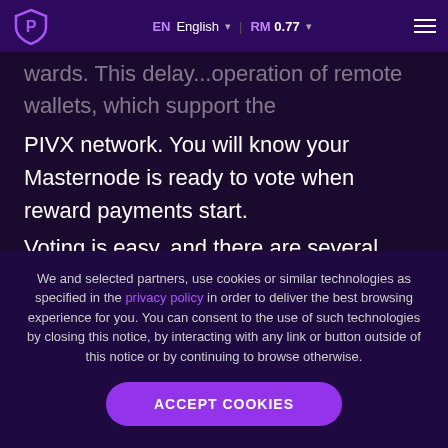EN English | RM 0.77
...wards. This delay...operation of remote wallets, which support the PIVX network. You will know your Masternode is ready to vote when reward payments start.
Voting is easy, and there are several ways to do it. If you are running your own remote wallet, you can vote directly from that remote wallet
We and selected partners, use cookies or similar technologies as specified in the privacy policy in order to deliver the best browsing experience for you. You can consent to the use of such technologies by closing this notice, by interacting with any link or button outside of this notice or by continuing to browse otherwise.
ACCEPT COOKIES